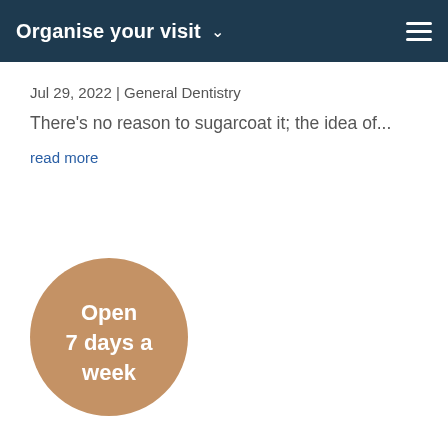Organise your visit
Jul 29, 2022 | General Dentistry
There's no reason to sugarcoat it; the idea of...
read more
[Figure (infographic): Circular badge with tan/brown background and white text reading 'Open 7 days a week']